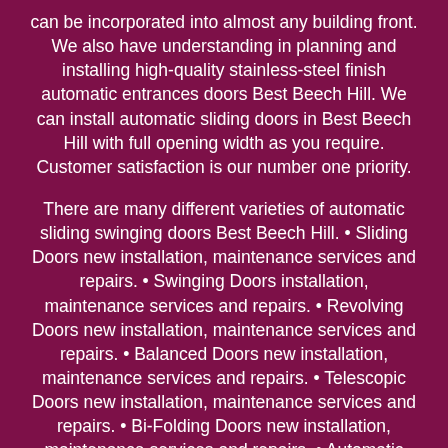can be incorporated into almost any building front. We also have understanding in planning and installing high-quality stainless-steel finish automatic entrances doors Best Beech Hill. We can install automatic sliding doors in Best Beech Hill with full opening width as you require. Customer satisfaction is our number one priority.
There are many different varieties of automatic sliding swinging doors Best Beech Hill. • Sliding Doors new installation, maintenance services and repairs. • Swinging Doors installation, maintenance services and repairs. • Revolving Doors new installation, maintenance services and repairs. • Balanced Doors new installation, maintenance services and repairs. • Telescopic Doors new installation, maintenance services and repairs. • Bi-Folding Doors new installation, maintenance services and repairs. • Automatic doors sensors and motor replacement and repair on site in Best Beech Hill.